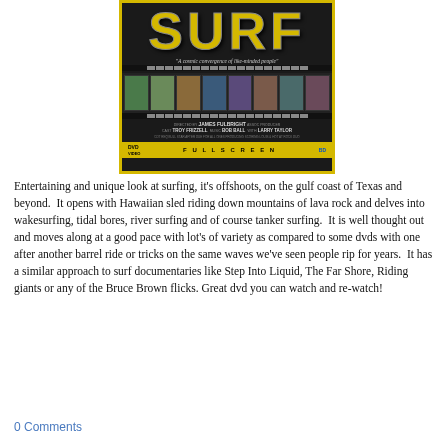[Figure (photo): DVD cover for a surfing documentary titled 'SURF' with yellow border, film strip of surfing images, credits listing James Fulbright, Troy Frizzell, Bob Ball, Larry Taylor, and a DVD Fullscreen Blu-ray label at the bottom]
Entertaining and unique look at surfing, it's offshoots, on the gulf coast of Texas and beyond.  It opens with Hawaiian sled riding down mountains of lava rock and delves into wakesurfing, tidal bores, river surfing and of course tanker surfing.  It is well thought out and moves along at a good pace with lot's of variety as compared to some dvds with one after another barrel ride or tricks on the same waves we've seen people rip for years.  It has a similar approach to surf documentaries like Step Into Liquid, The Far Shore, Riding giants or any of the Bruce Brown flicks. Great dvd you can watch and re-watch!
0 Comments